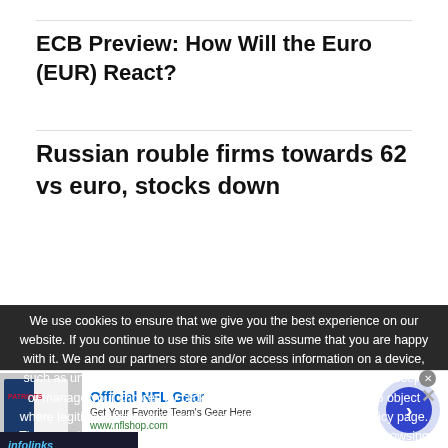ECB Preview: How Will the Euro (EUR) React?
Russian rouble firms towards 62 vs euro, stocks down
We use cookies to ensure that we give you the best experience on our website. If you continue to use this site we will assume that you are happy with it. We and our partners store and/or access information on a device, such as unique IDs in cookies to process personal data. You may accept or manage your choices by clicking below, including your right to object where legitimate interest is used, or at any time in the privacy policy page. These choices will be signalled to our partners and will not affect browsing data. We and our partners process data to provide: Use precise geolocation data. ely scan device characteristics for identification. Store and/or
[Figure (screenshot): Advertisement banner for Official NFL Gear with NFL jersey image, blue circular play button, and infolinks branding]